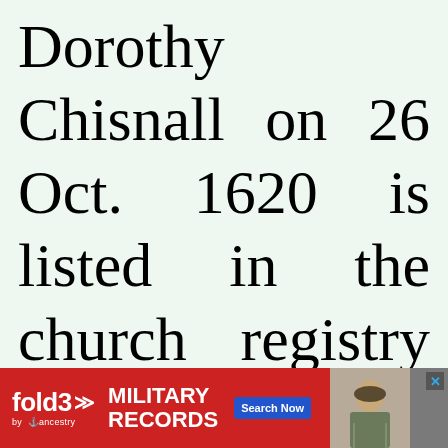Dorothy Chisnall on 26 Oct. 1620 is listed in the church registry of Capel St. Mary. They had
[Figure (screenshot): Advertisement banner for Fold3 Military Records by Ancestry, with red background, logo, 'MILITARY RECORDS' text, 'Search Now' button, and a photo of a soldier.]